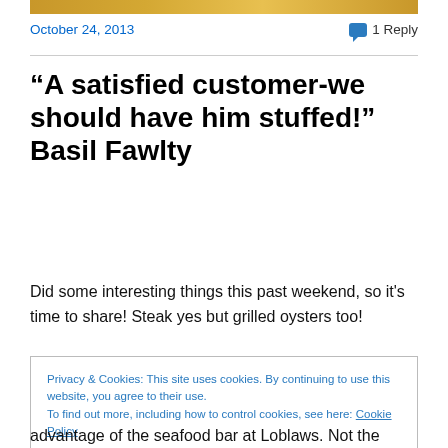[Figure (photo): Partial top banner image, golden/amber colored]
October 24, 2013
💬 1 Reply
“A satisfied customer-we should have him stuffed!” Basil Fawlty
Did some interesting things this past weekend, so it's time to share! Steak yes but grilled oysters too!
Privacy & Cookies: This site uses cookies. By continuing to use this website, you agree to their use.
To find out more, including how to control cookies, see here: Cookie Policy
Close and accept
advantage of the seafood bar at Loblaws. Not the greatest